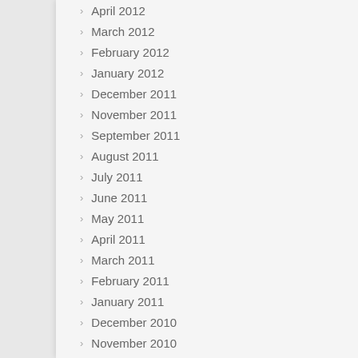April 2012
March 2012
February 2012
January 2012
December 2011
November 2011
September 2011
August 2011
July 2011
June 2011
May 2011
April 2011
March 2011
February 2011
January 2011
December 2010
November 2010
October 2010
September 2010